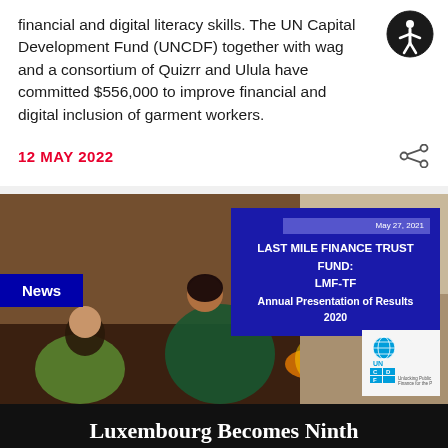financial and digital literacy skills. The UN Capital Development Fund (UNCDF) together with wag and a consortium of Quizrr and Ulula have committed $556,000 to improve financial and digital inclusion of garment workers.
12 MAY 2022
[Figure (photo): Photo of a woman and child near a fire, with overlaid blue box showing 'LAST MILE FINANCE TRUST FUND: LMF-TF Annual Presentation of Results 2020' dated May 27, 2021, a 'News' badge, and UNCDF logo in bottom right.]
Luxembourg Becomes Ninth